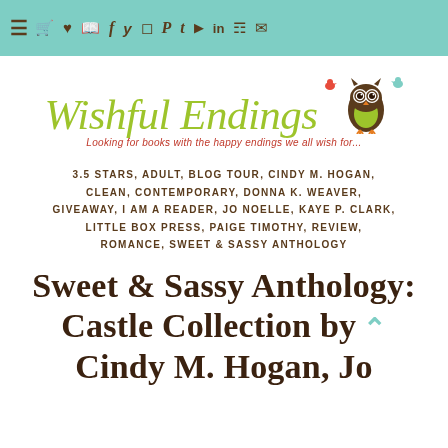Navigation bar with menu and social icons
[Figure (logo): Wishful Endings blog logo with owl graphic and tagline: Looking for books with the happy endings we all wish for...]
3.5 STARS, ADULT, BLOG TOUR, CINDY M. HOGAN, CLEAN, CONTEMPORARY, DONNA K. WEAVER, GIVEAWAY, I AM A READER, JO NOELLE, KAYE P. CLARK, LITTLE BOX PRESS, PAIGE TIMOTHY, REVIEW, ROMANCE, SWEET & SASSY ANTHOLOGY
Sweet & Sassy Anthology: Castle Collection by Cindy M. Hogan, Jo